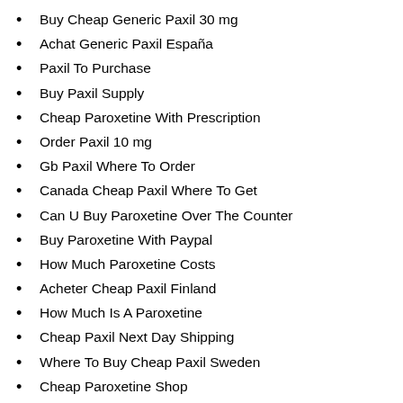Buy Cheap Generic Paxil 30 mg
Achat Generic Paxil España
Paxil To Purchase
Buy Paxil Supply
Cheap Paroxetine With Prescription
Order Paxil 10 mg
Gb Paxil Where To Order
Canada Cheap Paxil Where To Get
Can U Buy Paroxetine Over The Counter
Buy Paroxetine With Paypal
How Much Paroxetine Costs
Acheter Cheap Paxil Finland
How Much Is A Paroxetine
Cheap Paxil Next Day Shipping
Where To Buy Cheap Paxil Sweden
Cheap Paroxetine Shop
Paroxetine Daily Use Where To Buy
What Is The Cost Of Paroxetine